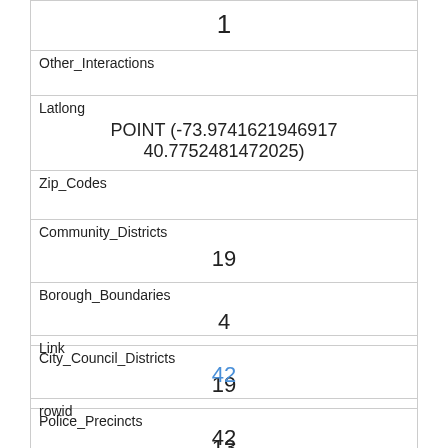| 1 |  |
| Other_Interactions |  |
| Latlong | POINT (-73.9741621946917 40.7752481472025) |
| Zip_Codes |  |
| Community_Districts | 19 |
| Borough_Boundaries | 4 |
| City_Council_Districts | 19 |
| Police_Precincts | 13 |
| Link | 42 |
| rowid | 42 |